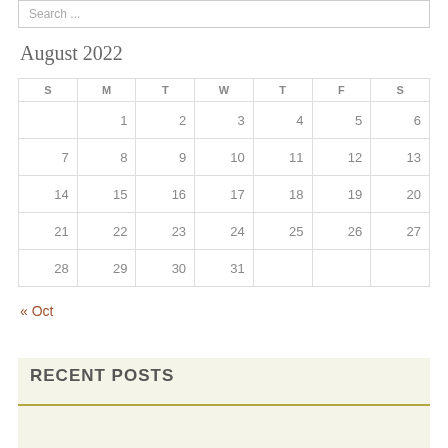Search ...
August 2022
| S | M | T | W | T | F | S |
| --- | --- | --- | --- | --- | --- | --- |
|  | 1 | 2 | 3 | 4 | 5 | 6 |
| 7 | 8 | 9 | 10 | 11 | 12 | 13 |
| 14 | 15 | 16 | 17 | 18 | 19 | 20 |
| 21 | 22 | 23 | 24 | 25 | 26 | 27 |
| 28 | 29 | 30 | 31 |  |  |  |
« Oct
RECENT POSTS